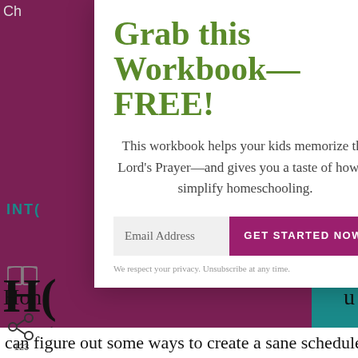Ch ... es
Grab this Workbook— FREE!
This workbook helps your kids memorize the Lord's Prayer—and gives you a taste of how to simplify homeschooling.
Email Address
GET STARTED NOW
We respect your privacy. Unsubscribe at any time.
can figure out some ways to create a sane schedule